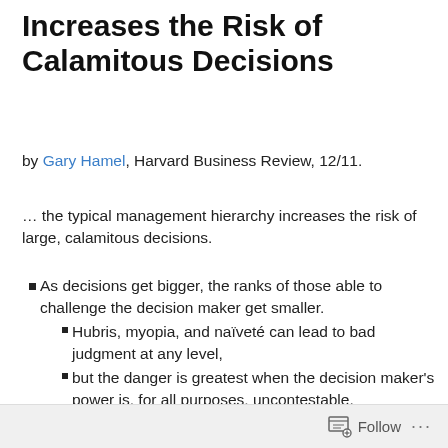Increases the Risk of Calamitous Decisions
by Gary Hamel, Harvard Business Review, 12/11.
… the typical management hierarchy increases the risk of large, calamitous decisions.
As decisions get bigger, the ranks of those able to challenge the decision maker get smaller.
Hubris, myopia, and naïveté can lead to bad judgment at any level,
but the danger is greatest when the decision maker's power is, for all purposes, uncontestable.
Give someone monarchlike authority, and sooner or later they will be gone.
Follow